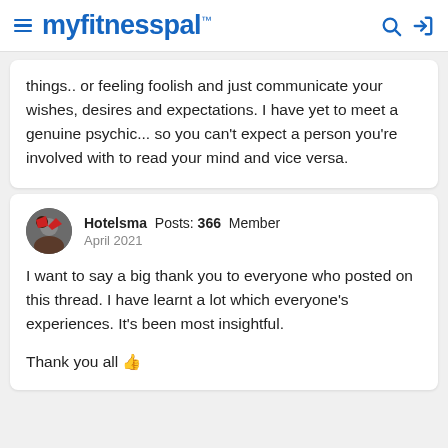myfitnesspal
things.. or feeling foolish and just communicate your wishes, desires and expectations. I have yet to meet a genuine psychic... so you can't expect a person you're involved with to read your mind and vice versa.
Hotelsma Posts: 366 Member
April 2021

I want to say a big thank you to everyone who posted on this thread. I have learnt a lot which everyone's experiences. It's been most insightful.

Thank you all 👍